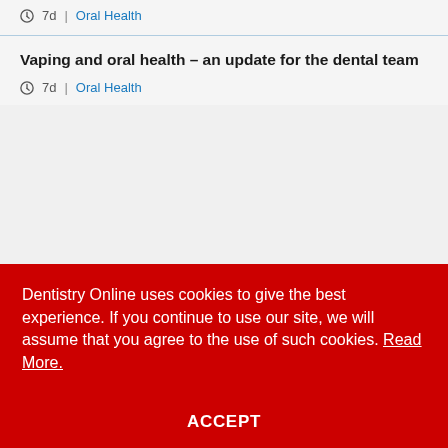7d | Oral Health
Vaping and oral health – an update for the dental team
7d | Oral Health
Dentistry Online uses cookies to give the best experience. If you continue to use our site, we will assume that you agree to the use of such cookies. Read More.
ACCEPT